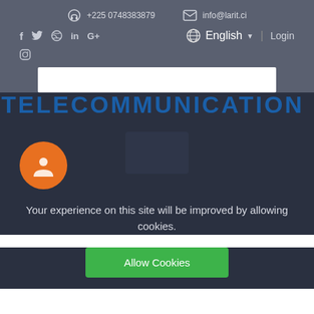+225 0748383879
info@larit.ci
English
Login
[Figure (screenshot): Website header showing TELECOMMUNICATION text banner with dark overlay and orange circular logo]
Your experience on this site will be improved by allowing cookies.
Allow Cookies